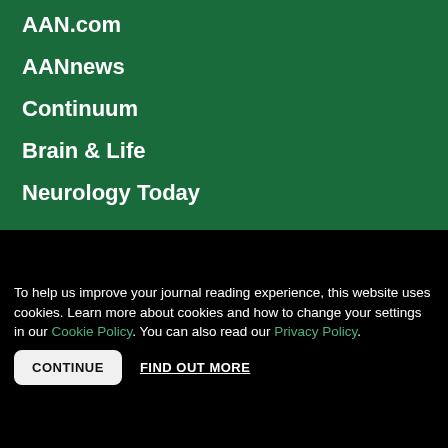AAN.com
AANnews
Continuum
Brain & Life
Neurology Today
[Figure (logo): American Academy of Neurology logo — starburst/asterisk icon in gold with text 'AMERICAN ACADEMY OF NEUROLOGY®' on black background]
[Figure (logo): Wolters Kluwer logo — multicolor circle icon with text 'Wolters Kluwer' in italic white on black background]
To help us improve your journal reading experience, this website uses cookies. Learn more about cookies and how to change your settings in our Cookie Policy. You can also read our Privacy Policy.
CONTINUE
FIND OUT MORE